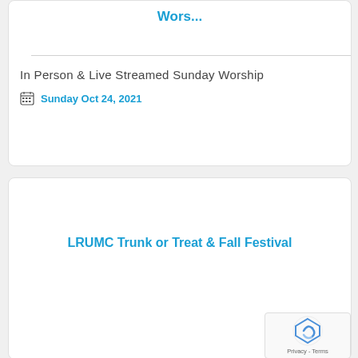Wors...
In Person & Live Streamed Sunday Worship
Sunday Oct 24, 2021
LRUMC Trunk or Treat & Fall Festival